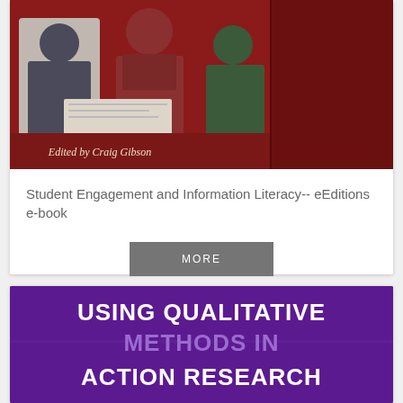[Figure (photo): Book cover: Student Engagement and Information Literacy, edited by Craig Gibson. Shows students reading together, dark red/maroon background.]
Student Engagement and Information Literacy-- eEditions e-book
MORE
[Figure (photo): Book cover: Using Qualitative Methods in Action Research. Purple background with bold white and light purple text.]